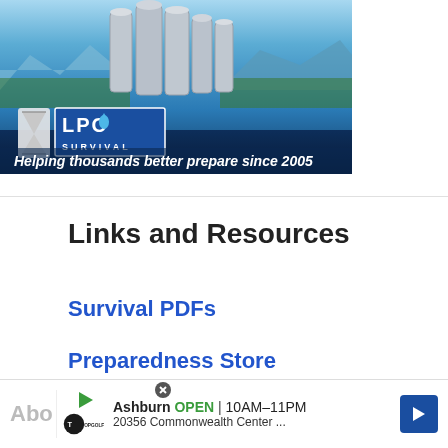[Figure (illustration): LPC Survival advertisement banner showing water filtration canisters against a mountain lake backdrop with the LPC Survival logo (hourglass and water drop) and tagline 'Helping thousands better prepare since 2005']
Links and Resources
Survival PDFs
Preparedness Store
Contact Me
[Figure (illustration): Bottom advertisement bar: TopGolf Ashburn OPEN 10AM-11PM, 20356 Commonwealth Center... with navigation arrow icon]